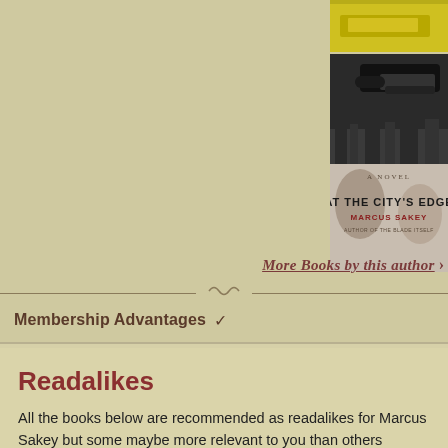[Figure (photo): Top portion of a book cover with yellow background, partially visible]
[Figure (photo): Book cover of 'At the City's Edge' by Marcus Sakey showing a handgun and noir cityscape imagery]
More Books by this author ›
Membership Advantages ✓
Readalikes
All the books below are recommended as readalikes for Marcus Sakey but some maybe more relevant to you than others depending on which books by the author you have read and enjoyed. So look for the suggested read-alikes...